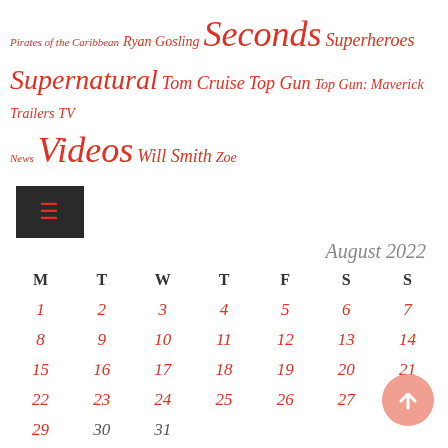Pirates of the Caribbean Ryan Gosling Seconds Superheroes Supernatural Tom Cruise Top Gun Top Gun: Maverick Trailers TV News Videos Will Smith Zoe
[Figure (other): Hamburger menu icon (three horizontal lines) on dark background]
| M | T | W | T | F | S | S |
| --- | --- | --- | --- | --- | --- | --- |
| 1 | 2 | 3 | 4 | 5 | 6 | 7 |
| 8 | 9 | 10 | 11 | 12 | 13 | 14 |
| 15 | 16 | 17 | 18 | 19 | 20 | 21 |
| 22 | 23 | 24 | 25 | 26 | 27 | 28 |
| 29 | 30 | 31 |  |  |  |  |
« Jul